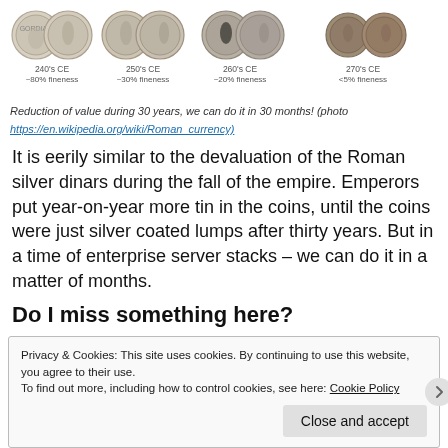[Figure (photo): Row of ancient Roman silver coins from 240s CE to 270s CE showing debasement, with labels indicating decade and fineness percentage. 240s CE ~80% fineness, 250s CE ~30% fineness, 260s CE ~20% fineness, 270s CE <5% fineness.]
Reduction of value during 30 years, we can do it in 30 months! (photo https://en.wikipedia.org/wiki/Roman_currency)
It is eerily similar to the devaluation of the Roman silver dinars during the fall of the empire. Emperors put year-on-year more tin in the coins, until the coins were just silver coated lumps after thirty years. But in a time of enterprise server stacks – we can do it in a matter of months.
Do I miss something here?
Privacy & Cookies: This site uses cookies. By continuing to use this website, you agree to their use.
To find out more, including how to control cookies, see here: Cookie Policy
Close and accept